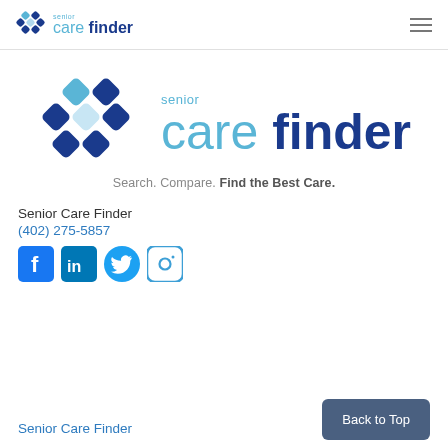[Figure (logo): Senior Care Finder logo in header - small version with diamond icon, 'senior' in light blue, 'care' in light blue and 'finder' in dark blue bold]
[Figure (logo): Senior Care Finder main large logo - diamond pattern icon, 'senior' in light blue above, 'care' in light blue 'finder' in dark navy bold, tagline: Search. Compare. Find the Best Care.]
Senior Care Finder
(402) 275-5857
[Figure (infographic): Social media icons row: Facebook (blue square f), LinkedIn (blue square in), Twitter (blue bird), Instagram (blue circle camera outline)]
Senior Care Finder
Back to Top